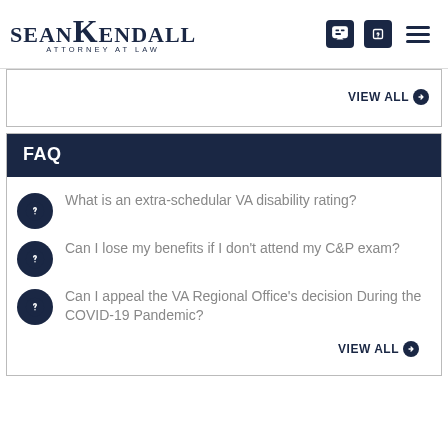Sean Kendall Attorney At Law
VIEW ALL
FAQ
What is an extra-schedular VA disability rating?
Can I lose my benefits if I don't attend my C&P exam?
Can I appeal the VA Regional Office's decision During the COVID-19 Pandemic?
VIEW ALL